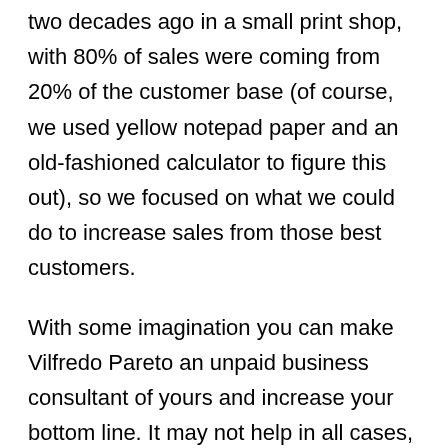two decades ago in a small print shop, with 80% of sales were coming from 20% of the customer base (of course, we used yellow notepad paper and an old-fashioned calculator to figure this out), so we focused on what we could do to increase sales from those best customers.
With some imagination you can make Vilfredo Pareto an unpaid business consultant of yours and increase your bottom line. It may not help in all cases, but hopefully it will work for you at least 80% of the time (rim shot!).